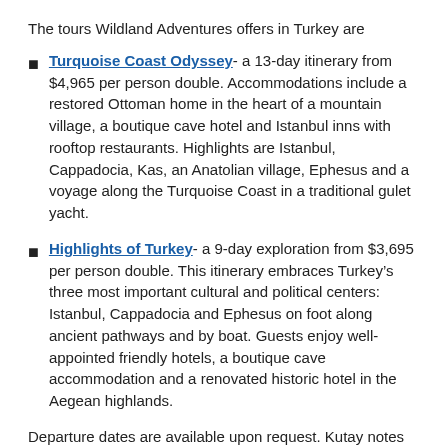The tours Wildland Adventures offers in Turkey are
Turquoise Coast Odyssey- a 13-day itinerary from $4,965 per person double. Accommodations include a restored Ottoman home in the heart of a mountain village, a boutique cave hotel and Istanbul inns with rooftop restaurants. Highlights are Istanbul, Cappadocia, Kas, an Anatolian village, Ephesus and a voyage along the Turquoise Coast in a traditional gulet yacht.
Highlights of Turkey- a 9-day exploration from $3,695 per person double. This itinerary embraces Turkey's three most important cultural and political centers: Istanbul, Cappadocia and Ephesus on foot along ancient pathways and by boat. Guests enjoy well-appointed friendly hotels, a boutique cave accommodation and a renovated historic hotel in the Aegean highlands.
Departure dates are available upon request. Kutay notes that even though there's more pressure on prices because of renewed demand by tourists, the Turkish Lira has fallen against the stronger dollar.
“Our trip prices remain the same as they were three years ago,” he